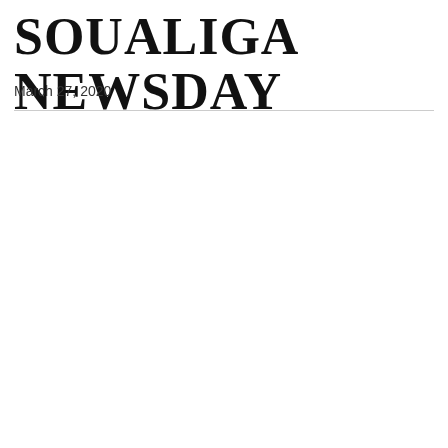SOUALIGA NEWSDAY
March 27, 2020